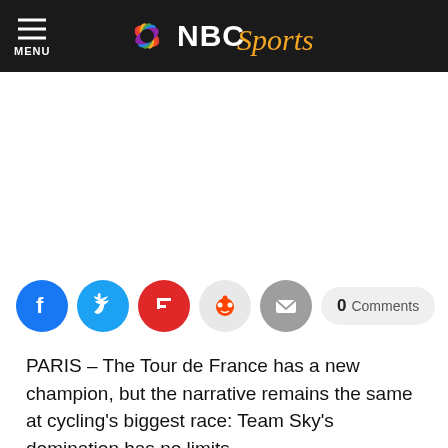MENU | NBC Sports
[Figure (other): Advertisement placeholder (white space)]
[Figure (other): Social sharing buttons: Facebook, Twitter, Flipboard, Reddit, Email; and 0 Comments button]
PARIS – The Tour de France has a new champion, but the narrative remains the same at cycling's biggest race: Team Sky's domination has no limits.
By placing Geraint Thomas on top of the podium on the Champs-Elysees on Sunday, the British outfit ended